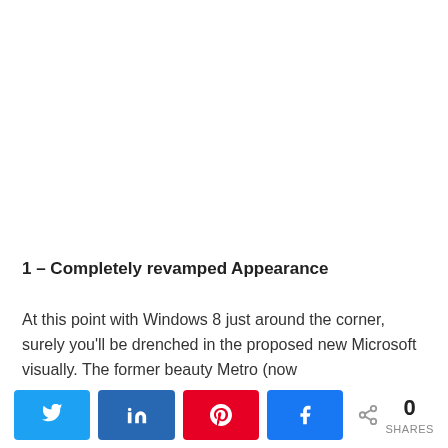1 – Completely revamped Appearance
At this point with Windows 8 just around the corner, surely you'll be drenched in the proposed new Microsoft visually. The former beauty Metro (now Modern UI) is one of the most radical changes...